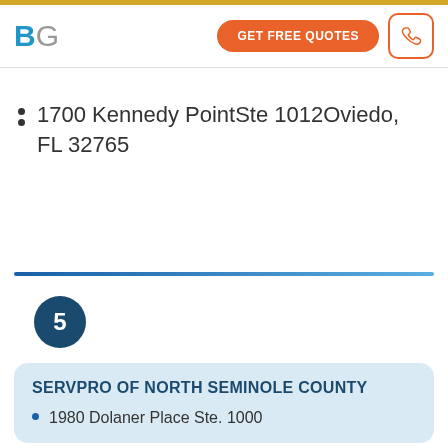BG | GET FREE QUOTES
1700 Kennedy PointSte 1012Oviedo, FL 32765
5
SERVPRO OF NORTH SEMINOLE COUNTY
1980 Dolaner Place Ste. 1000